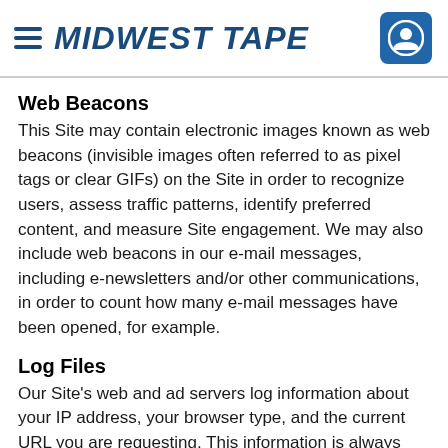MIDWEST TAPE
Web Beacons
This Site may contain electronic images known as web beacons (invisible images often referred to as pixel tags or clear GIFs) on the Site in order to recognize users, assess traffic patterns, identify preferred content, and measure Site engagement. We may also include web beacons in our e-mail messages, including e-newsletters and/or other communications, in order to count how many e-mail messages have been opened, for example.
Log Files
Our Site's web and ad servers log information about your IP address, your browser type, and the current URL you are requesting. This information is always provided by your browser and automatically logged